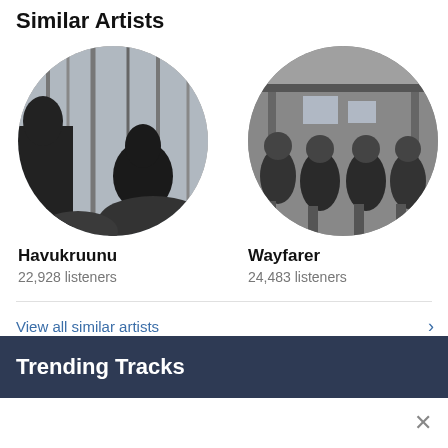Similar Artists
[Figure (photo): Circular artist photo of Havukruunu — black and white outdoor scene with figures in dark clothing among trees and rocks]
Havukruunu
22,928 listeners
[Figure (photo): Circular artist photo of Wayfarer — black and white photo of four people sitting on chairs/stools in front of a building]
Wayfarer
24,483 listeners
[Figure (photo): Partially visible circular artist photo (cropped at right edge) — appears to be a close-up texture or foliage in black and white, with text 'Véh' partially visible]
Véh
7,268
View all similar artists
Trending Tracks